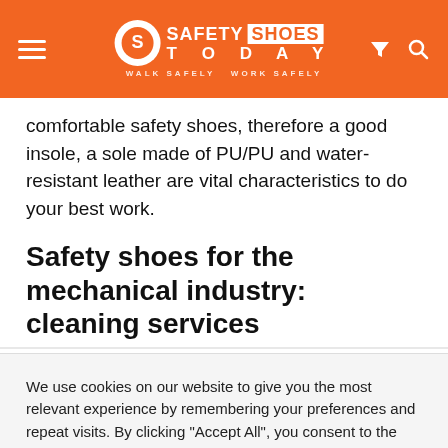Safety Shoes Today — WALK SAFELY WORK SAFELY
comfortable safety shoes, therefore a good insole, a sole made of PU/PU and water-resistant leather are vital characteristics to do your best work.
Safety shoes for the mechanical industry: cleaning services
We use cookies on our website to give you the most relevant experience by remembering your preferences and repeat visits. By clicking "Accept All", you consent to the use of ALL the cookies. However, you may visit "Cookie Settings" to provide a controlled consent.